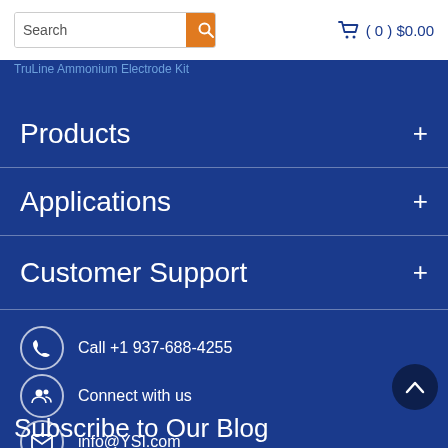Search | (0) $0.00
TruLine Ammonium Electrode Kit
Products +
Applications +
Customer Support +
Call +1 937-688-4255
Connect with us
info@YSI.com
[Figure (infographic): Social media icons: YouTube (red), Twitter (blue), LinkedIn (teal), Instagram (pink), Facebook (grey)]
Subscribe to Our Blog